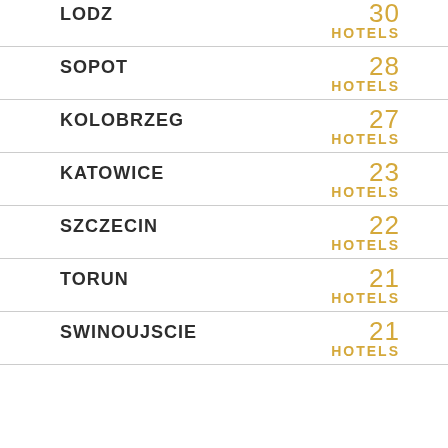| City | Count |
| --- | --- |
| LODZ | 30 HOTELS |
| SOPOT | 28 HOTELS |
| KOLOBRZEG | 27 HOTELS |
| KATOWICE | 23 HOTELS |
| SZCZECIN | 22 HOTELS |
| TORUN | 21 HOTELS |
| SWINOUJSCIE | 21 HOTELS |